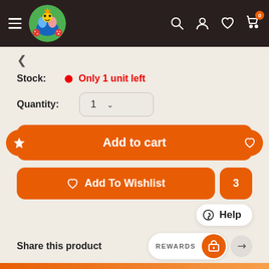BoardGame Bliss - header navigation
Stock: Only 1 unit left
Quantity: 1
Add to cart
Add To Wishlist
Help
Share this product
REWARDS